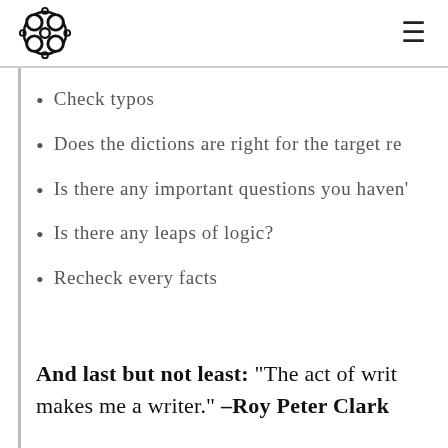[logo] [hamburger menu]
Check typos
Does the dictions are right for the target re…
Is there any important questions you haven't…
Is there any leaps of logic?
Recheck every facts
And last but not least: “The act of writ… makes me a writer.” –Roy Peter Clark